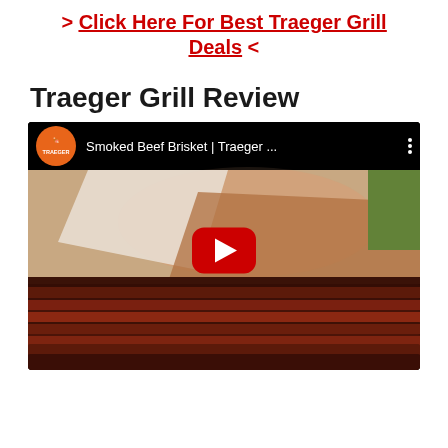> Click Here For Best Traeger Grill Deals <
Traeger Grill Review
[Figure (screenshot): YouTube video thumbnail showing a smoked beef brisket with title 'Smoked Beef Brisket | Traeger ...' and a red YouTube play button overlay]